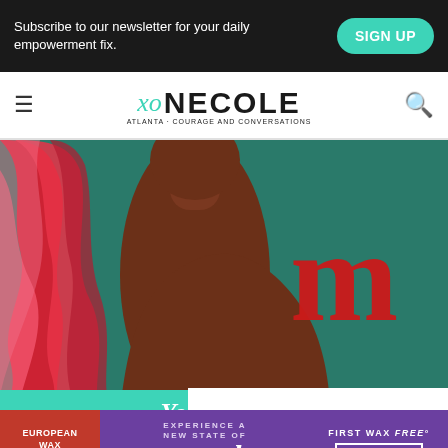Subscribe to our newsletter for your daily empowerment fix.  SIGN UP
[Figure (logo): xoNecole logo with hamburger menu and search icon]
[Figure (illustration): Illustrated figure of a woman with red wavy hair on teal background with red Virgo zodiac symbol, partially overlaid by white ad placeholder box]
Your Mor...
[Figure (infographic): European Wax Center advertisement: Experience a New State of smooth — First Wax free. Book Now.]